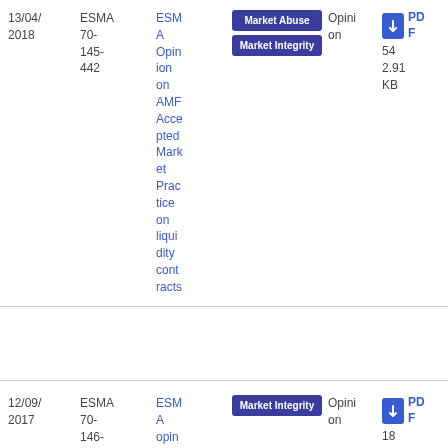| Date | Reference | Title | Tags | Type | File |
| --- | --- | --- | --- | --- | --- |
| 13/04/2018 | ESMA 70-145-442 | ESMA Opinion on AMF Accepted Market Practice on liquidity contracts | Market Abuse, Market Integrity | Opinion | PDF 54 2.91 KB |
| 12/09/2017 | ESMA 70-146-15 | ESMA opinion ... | Market Integrity | Opinion | PDF 18 |